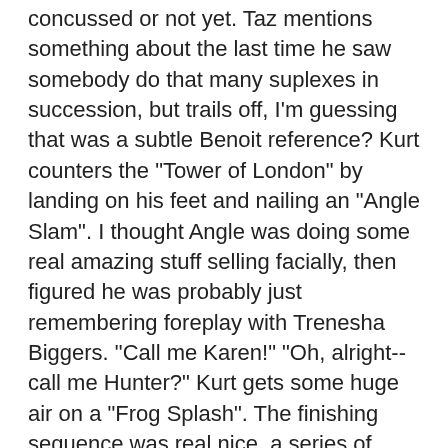concussed or not yet. Taz mentions something about the last time he saw somebody do that many suplexes in succession, but trails off, I'm guessing that was a subtle Benoit reference? Kurt counters the "Tower of London" by landing on his feet and nailing an "Angle Slam". I thought Angle was doing some real amazing stuff selling facially, then figured he was probably just remembering foreplay with Trenesha Biggers. "Call me Karen!" "Oh, alright--call me Hunter?" Kurt gets some huge air on a "Frog Splash". The finishing sequence was real nice, a series of "Tombstone Piledriver" reversals, playing up the drama of Angle's bad neck, Kurt rolled out into an ankle lock, transitioned it into a side triangle choke and got the submission. I thought this was really good, not great, though. I don't feel it was the right crowd to work a classic for, and they didn't, but that aside, everything was executed solidly and Desmond still liked good in defeat.
Adam: This was exactly the way it should've been. It started off with a feeling out process and built from there to a nice creshendo. Wolfe was working over Kurt's arm the entire match with keylocks and his trademark London Dungeon hold. Kurt hits in Oregano... who is right in a row and the...